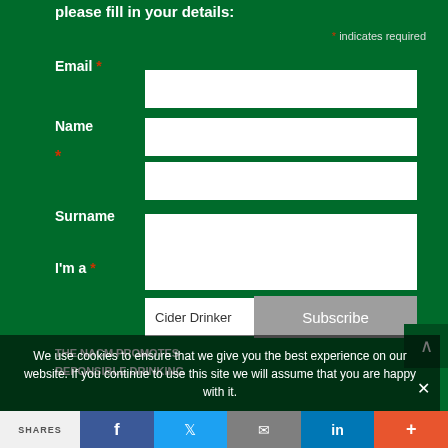please fill in your details:
* indicates required
Email *
Name *
Surname
I'm a *
Cider Drinker
Subscribe
THE NACM PROMOTES REPONSIBLE DRINKING
We use cookies to ensure that we give you the best experience on our website. If you continue to use this site we will assume that you are happy with it.
SHARES